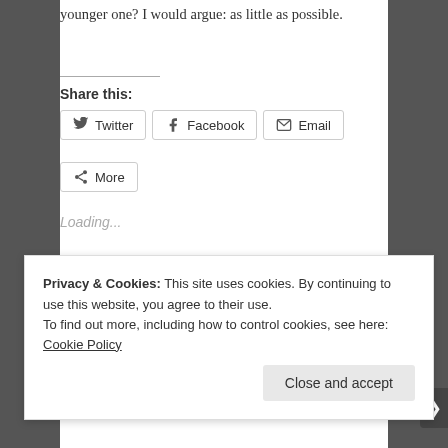younger one? I would argue: as little as possible.
Share this:
Twitter   Facebook   Email   More
Loading...
2020/05/25 in Covid19, Decision Making, Government, Relationships, Science, Vaccines. Tags: age demographics, Covid19, Decision making, Future, Vaccine
Privacy & Cookies: This site uses cookies. By continuing to use this website, you agree to their use.
To find out more, including how to control cookies, see here: Cookie Policy
Close and accept